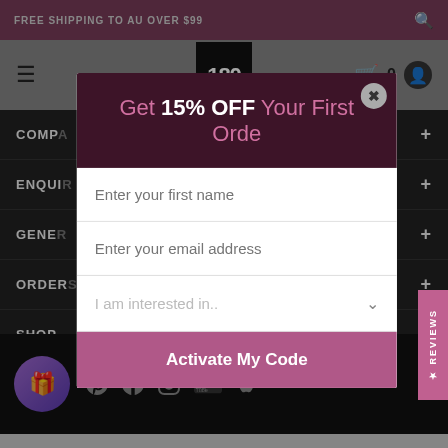FREE SHIPPING TO AU OVER $99
[Figure (logo): 180 Nutrition logo badge in black pentagon/bookmark shape]
COMPANY
ENQUIRIES
GENERAL
ORDER
SHOP
[Figure (screenshot): Modal popup with 'Get 15% OFF Your First Order' heading, input fields for first name and email, a dropdown for interest, and an Activate My Code button]
REVIEWS
[Figure (infographic): Social media icons: Pinterest, Facebook, Instagram, YouTube, Apple]